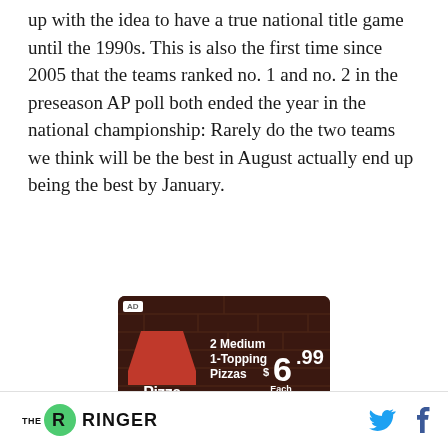up with the idea to have a true national title game until the 1990s. This is also the first time since 2005 that the teams ranked no. 1 and no. 2 in the preseason AP poll both ended the year in the national championship: Rarely do the two teams we think will be the best in August actually end up being the best by January.
[Figure (other): Pizza Hut advertisement: '2 Medium 1-Topping Pizzas $6.99 Each Carryout Only' with pizza box imagery]
THE RINGER [Twitter icon] [Facebook icon]